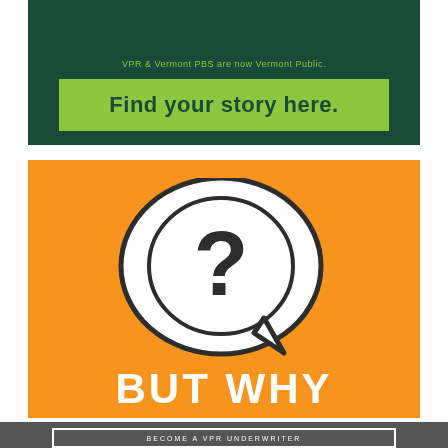[Figure (logo): Dark green banner with lime green button containing bold text 'Find your story here.' with small text above reading 'VPR & Vermont PBS are now Vermont Public.']
[Figure (logo): Orange square logo for 'BUT WHY' podcast featuring a white speech bubble with a dark question mark inside on orange background, with bold white text 'BUT WHY' at bottom.]
[Figure (other): Dark gray banner with a rectangular outlined button containing the text 'BECOME A VPR UNDERWRITER' in white capital letters.]